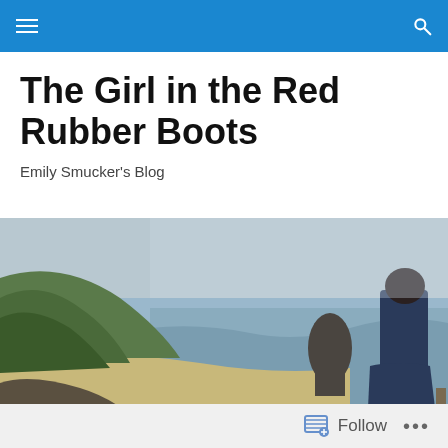Navigation bar with menu and search icons
The Girl in the Red Rubber Boots
Emily Smucker's Blog
[Figure (photo): A person wearing red rubber boots stands on a rocky cliff overlooking a scenic coastal beach with a large sea stack rock, green hillsides, and misty ocean in the background.]
15 of my Favorite Feelings
Follow  ...